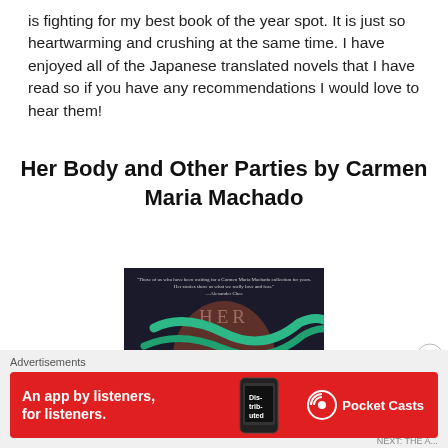is fighting for my best book of the year spot. It is just so heartwarming and crushing at the same time. I have enjoyed all of the Japanese translated novels that I have read so if you have any recommendations I would love to hear them!
Her Body and Other Parties by Carmen Maria Machado
[Figure (illustration): Book cover of 'Her Body and Other Parties' by Carmen Maria Machado. Dark background with a figure wrapped in green ribbons. White serif text reads HER, BODY, AND. A quote at the top in small text.]
Advertisements
[Figure (infographic): Red advertisement banner for Pocket Casts app. Text reads 'An app by listeners, for listeners.' with a phone showing 'Distributed' podcast and the Pocket Casts logo on the right.]